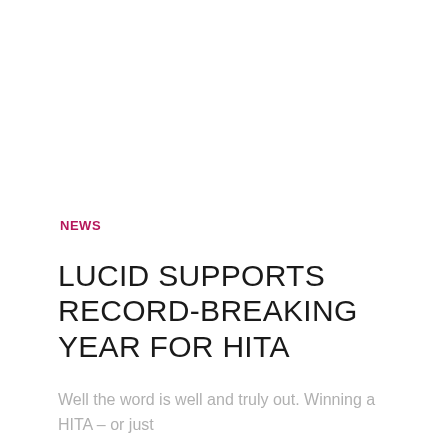NEWS
LUCID SUPPORTS RECORD-BREAKING YEAR FOR HITA
Well the word is well and truly out. Winning a HITA – or just